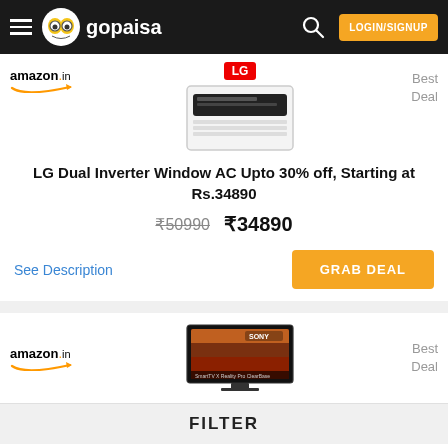gopaisa — LOGIN/SIGNUP
[Figure (screenshot): LG Dual Inverter Window AC product image with LG logo]
amazon.in — Best Deal
LG Dual Inverter Window AC Upto 30% off, Starting at Rs.34890
₹50990  ₹34890
See Description
GRAB DEAL
[Figure (screenshot): Sony Smart TV product image]
amazon.in — Best Deal
FILTER